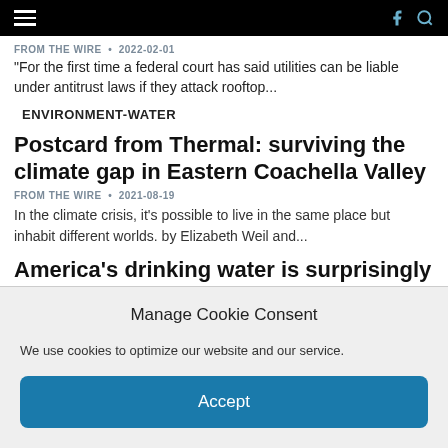FROM THE WIRE • 2022-02-01
"For the first time a federal court has said utilities can be liable under antitrust laws if they attack rooftop...
ENVIRONMENT-WATER
Postcard from Thermal: surviving the climate gap in Eastern Coachella Valley
FROM THE WIRE • 2021-08-19
In the climate crisis, it's possible to live in the same place but inhabit different worlds. by Elizabeth Weil and...
America's drinking water is surprisingly easy to poison
FROM THE WIRE • 2021-03-17
The cyberbreach at a plant in Oldsmar, Florida, which could have
Manage Cookie Consent
We use cookies to optimize our website and our service.
Accept